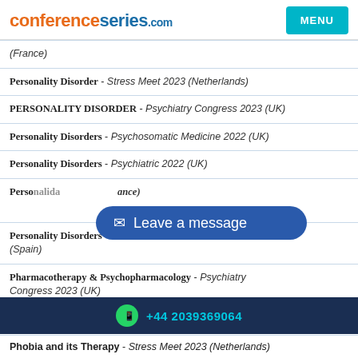conferenceseries.com | MENU
(France)
Personality Disorder - Stress Meet 2023 (Netherlands)
PERSONALITY DISORDER - Psychiatry Congress 2023 (UK)
Personality Disorders - Psychosomatic Medicine 2022 (UK)
Personality Disorders - Psychiatric 2022 (UK)
Personality Disorders - [obscured] (France)
Personality Disorders - MENTAL HEALTH CONGRESS-2022 (Spain)
Pharmacotherapy & Psychopharmacology - Psychiatry Congress 2023 (UK)
Phobia and its Therapy - Stress Meet 2023 (Netherlands)